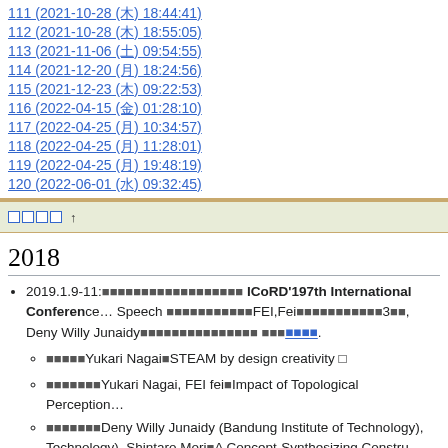111 (2021-10-28 (木) 18:44:41)
112 (2021-10-28 (木) 18:55:05)
113 (2021-11-06 (土) 09:54:55)
114 (2021-12-20 (月) 18:24:56)
115 (2021-12-23 (木) 09:22:53)
116 (2022-04-15 (金) 01:28:10)
117 (2022-04-25 (月) 10:34:57)
118 (2022-04-25 (月) 11:28:01)
119 (2022-04-25 (月) 19:48:19)
120 (2022-06-01 (水) 09:32:45)
ページ履歴 ↑
2018
2019.1.9-11: ICoRD'19 7th International Conference on Research into Design Speech FEI,Fei 3回, Deny Willy Junaidy.
発表者 Yukari Nagai STEAM by design creativity □
発表者 Yukari Nagai, FEI fei Impact of Topological Perception
発表者 Deny Willy Junaidy (Bandung Institute of Technology), Technology), Shintaro Mori A Concept-Synthesizing Constru